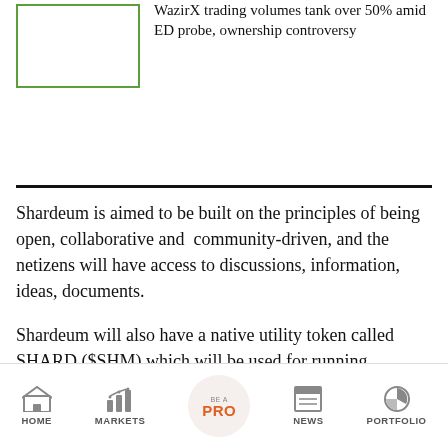WazirX trading volumes tank over 50% amid ED probe, ownership controversy
Shardeum is aimed to be built on the principles of being open, collaborative and community-driven, and the netizens will have access to discussions, information, ideas, documents.
Shardeum will also have a native utility token called SHARD ($SHM) which will be used for running transactions on the network, incentivising validators, running DApps, etc. The duo plans to raise capital via a closed
HOME   MARKETS   BE A PRO   NEWS   PORTFOLIO